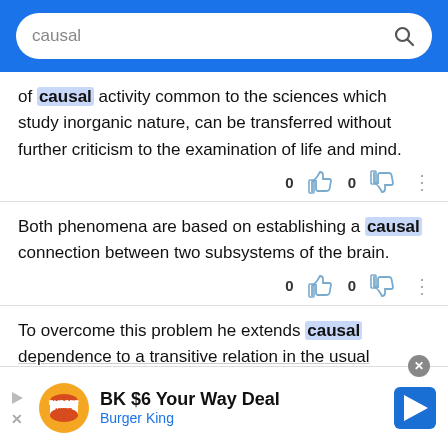causal [search bar]
of causal activity common to the sciences which study inorganic nature, can be transferred without further criticism to the examination of life and mind.
Both phenomena are based on establishing a causal connection between two subsystems of the brain.
To overcome this problem he extends causal dependence to a transitive relation in the usual
[Figure (screenshot): Burger King advertisement banner: BK $6 Your Way Deal, Burger King]